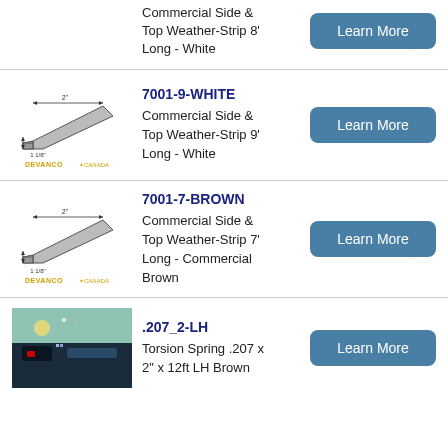Commercial Side & Top Weather-Strip 8' Long - White
[Figure (illustration): Devanco Canada weather-strip cross-section diagram showing 2 inch and 1 1/8 inch dimensions with DEVANCO CANADA logo]
7001-9-WHITE
Commercial Side & Top Weather-Strip 9' Long - White
[Figure (illustration): Devanco Canada weather-strip cross-section diagram showing 2 inch and 1 1/8 inch dimensions with DEVANCO CANADA logo]
7001-7-BROWN
Commercial Side & Top Weather-Strip 7' Long - Commercial Brown
[Figure (photo): Product photo for torsion spring .207 x 2 inch x 12ft LH Brown]
.207_2-LH
Torsion Spring .207 x 2" x 12ft LH Brown